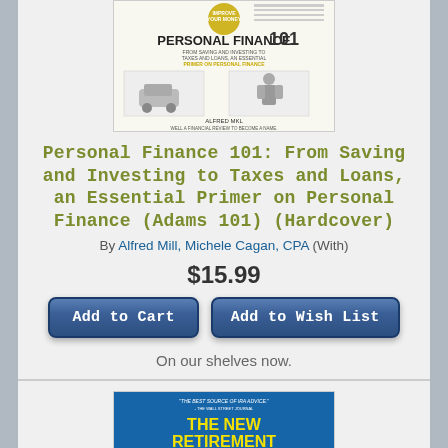[Figure (illustration): Book cover of Personal Finance 101 by Alfred Mill, showing the title with illustrations of financial items]
Personal Finance 101: From Saving and Investing to Taxes and Loans, an Essential Primer on Personal Finance (Adams 101) (Hardcover)
By Alfred Mill, Michele Cagan, CPA (With)
$15.99
Add to Cart
Add to Wish List
On our shelves now.
[Figure (illustration): Book cover of The New Retirement Savings Time Bomb, with blue and yellow cover design]